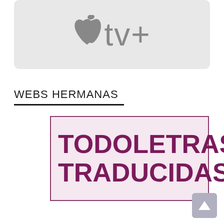[Figure (logo): Apple TV+ logo on light grey rounded rectangle background]
WEBS HERMANAS
[Figure (logo): TodoLetras Traducidas logo — bold magenta text on light pink background with magenta border]
[Figure (other): Back to top button — grey rounded square with white upward arrow]